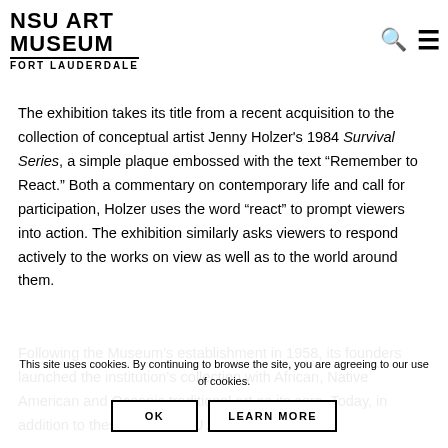NSU ART MUSEUM FORT LAUDERDALE
The exhibition takes its title from a recent acquisition to the collection of conceptual artist Jenny Holzer's 1984 Survival Series, a simple plaque embossed with the text “Remember to React.” Both a commentary on contemporary life and call for participation, Holzer uses the word “react” to prompt viewers into action. The exhibition similarly asks viewers to respond actively to the works on view as well as to the world around them.
Following the Museum’s establishment in 1958, its founders launched the institution’s collection with African, Native American and Oceanic traditional art as its core. Today, in addition to these areas, NSU Art
This site uses cookies. By continuing to browse the site, you are agreeing to our use of cookies.